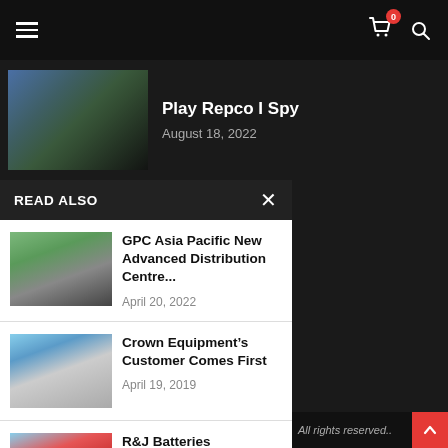Navigation bar with hamburger menu, cart (0 items), and search icon
Play Repco I Spy
August 18, 2022
READ ALSO
GPC Asia Pacific New Advanced Distribution Centre...
April 20, 2022
Crown Equipment's Customer Comes First
April 19, 2019
R&J Batteries Celebrates 25 Years
All rights reserved..